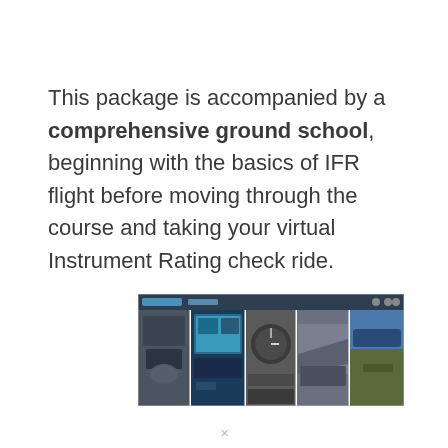This package is accompanied by a comprehensive ground school, beginning with the basics of IFR flight before moving through the course and taking your virtual Instrument Rating check ride.
[Figure (screenshot): A horizontal strip of screenshots showing cockpit instrument panels and flight simulator views, with a dark navigation bar at the top.]